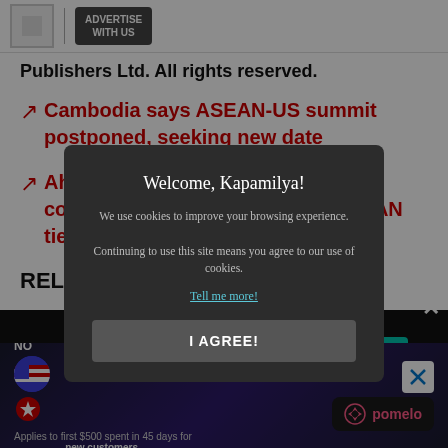ADVERTISE WITH US
Publishers Ltd. All rights reserved.
Cambodia says ASEAN-US summit postponed, seeking new date
Ahead of Blinken trip, US says committed to 'unprecedented' ASEAN ties
RELATED VIDEO
[Figure (screenshot): Cookie consent modal overlay on dark background reading: Welcome, Kapamilya! We use cookies to improve your browsing experience. Continuing to use this site means you agree to our use of cookies. Tell me more! I AGREE!]
[Figure (screenshot): Advertisement banner for Pomelo with US flag, NO text, applies to first $500 spent in 45 days for new customers, with close X button]